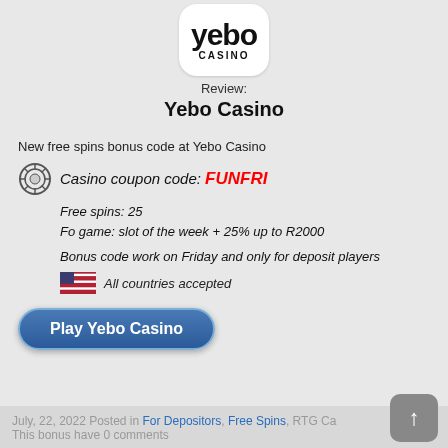[Figure (logo): Yebo Casino logo - white rounded rectangle with 'yebo' in large bold text and 'CASINO' in small caps below]
Review:
Yebo Casino
New free spins bonus code at Yebo Casino
Casino coupon code: FUNFRI
Free spins: 25
Fo game: slot of the week + 25% up to R2000
Bonus code work on Friday and only for deposit players
All countries accepted
Play Yebo Casino
July, 22, 2022 Posted in For Depositors, Free Spins, RTG Ca...
This bonus have 0 comments